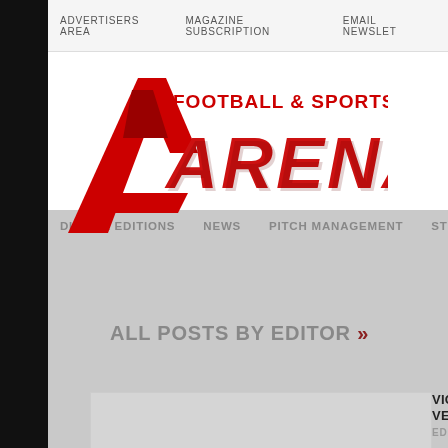ADVERTISERS AREA   MAGAZINE SUBSCRIPTION   EMAIL NEWSLETTER
[Figure (logo): Football & Sports Arena logo with large red stylized A and bold red ARENA text]
DIGITAL EDITIONS   NEWS   PITCH MANAGEMENT   ST
ALL POSTS BY EDITOR >>
VICTOR GAS HOT VERSATILITY
EDITOR
As well as a full ra also manufacture g plain top Peer and ranges. The Peer a